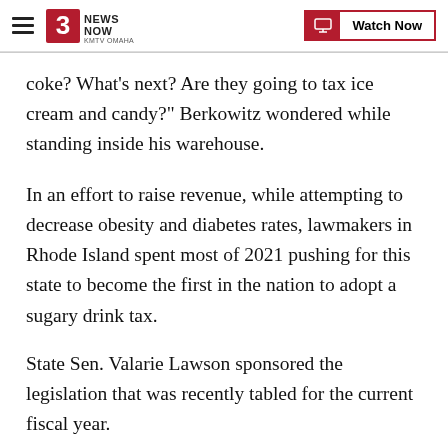3 News Now KMTV Omaha — Watch Now
coke? What's next? Are they going to tax ice cream and candy?" Berkowitz wondered while standing inside his warehouse.
In an effort to raise revenue, while attempting to decrease obesity and diabetes rates, lawmakers in Rhode Island spent most of 2021 pushing for this state to become the first in the nation to adopt a sugary drink tax.
State Sen. Valarie Lawson sponsored the legislation that was recently tabled for the current fiscal year.